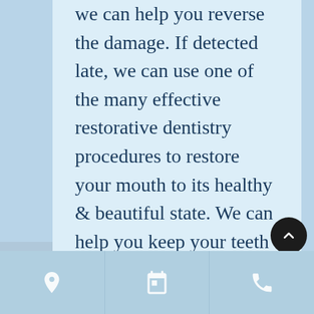we can help you reverse the damage. If detected late, we can use one of the many effective restorative dentistry procedures to restore your mouth to its healthy & beautiful state. We can help you keep your teeth & gums strong & disease-free with regular examinations & cleanings plus specialized interventions to treat periodontal disease if needed.